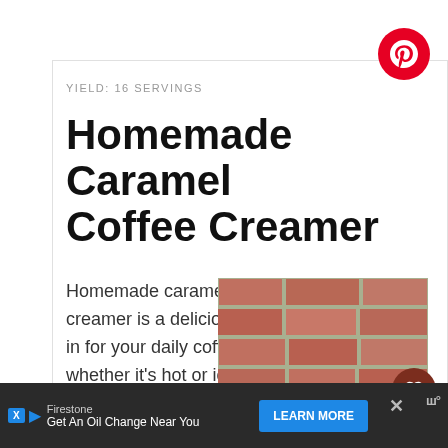YIELD: 16 SERVINGS
Homemade Caramel Coffee Creamer
Homemade caramel coffee creamer is a delicious add-in for your daily coffees; whether it’s hot or iced, this creamer will
[Figure (photo): Photo of a glass bowl of cream/milk against a brick wall background]
Firestone
Get An Oil Change Near You
LEARN MORE